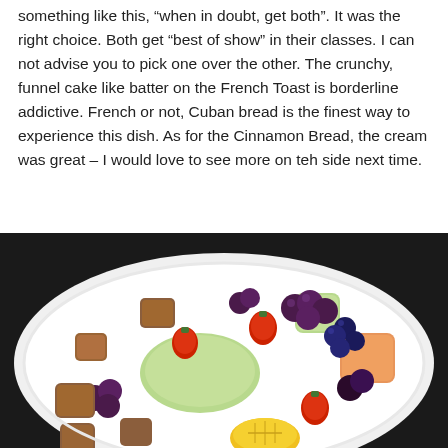something like this, “when in doubt, get both”. It was the right choice. Both get “best of show” in their classes. I can not advise you to pick one over the other. The crunchy, funnel cake like batter on the French Toast is borderline addictive. French or not, Cuban bread is the finest way to experience this dish. As for the Cinnamon Bread, the cream was great – I would love to see more on teh side next time.
[Figure (photo): A white plate filled with a colorful fruit salad including strawberries, blueberries, grapes, honeydew melon, cantaloupe, pineapple, and pieces of french toast or cinnamon bread.]